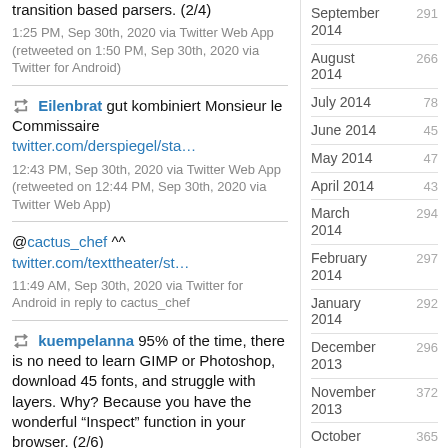transition based parsers. (2/4)
1:25 PM, Sep 30th, 2020 via Twitter Web App (retweeted on 1:50 PM, Sep 30th, 2020 via Twitter for Android)
Eilenbrat gut kombiniert Monsieur le Commissaire twitter.com/derspiegel/sta…
12:43 PM, Sep 30th, 2020 via Twitter Web App (retweeted on 12:44 PM, Sep 30th, 2020 via Twitter Web App)
@cactus_chef ^^ twitter.com/texttheater/st…
11:49 AM, Sep 30th, 2020 via Twitter for Android in reply to cactus_chef
kuempelanna 95% of the time, there is no need to learn GIMP or Photoshop, download 45 fonts, and struggle with layers. Why? Because you have the wonderful “Inspect” function in your browser. (2/6)
11:00 AM, Sep 30th, 2020 via Twitter Web App (retweeted on 11:48 AM, Sep 30th, 2020…
September 2014  291
August 2014  266
July 2014  78
June 2014  45
May 2014  47
April 2014  43
March 2014  294
February 2014  297
January 2014  292
December 2013  296
November 2013  372
October 2013  365
September 2013  532